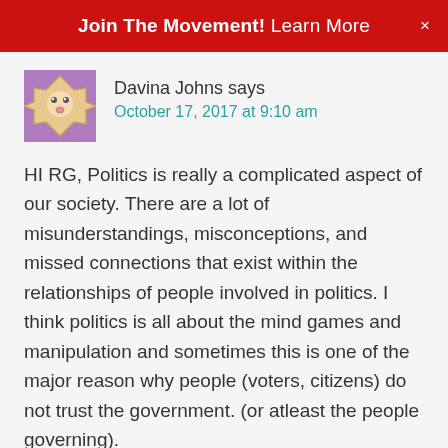Join The Movement! Learn More  ×
Davina Johns says
October 17, 2017 at 9:10 am
HI RG, Politics is really a complicated aspect of our society. There are a lot of misunderstandings, misconceptions, and missed connections that exist within the relationships of people involved in politics. I think politics is all about the mind games and manipulation and sometimes this is one of the major reason why people (voters, citizens) do not trust the government. (or atleast the people governing).
Reply